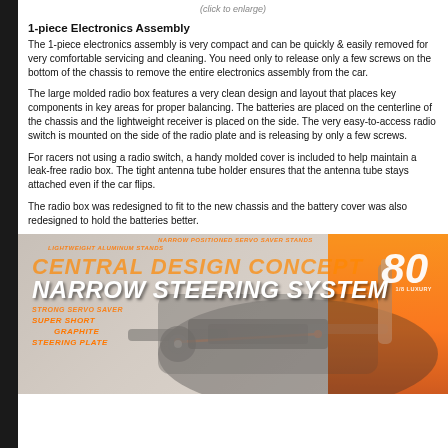(click to enlarge)
1-piece Electronics Assembly
The 1-piece electronics assembly is very compact and can be quickly & easily removed for very comfortable servicing and cleaning. You need only to release only a few screws on the bottom of the chassis to remove the entire electronics assembly from the car.
The large molded radio box features a very clean design and layout that places key components in key areas for proper balancing. The batteries are placed on the centerline of the chassis and the lightweight receiver is placed on the side. The very easy-to-access radio switch is mounted on the side of the radio plate and is releasing by only a few screws.
For racers not using a radio switch, a handy molded cover is included to help maintain a leak-free radio box. The tight antenna tube holder ensures that the antenna tube stays attached even if the car flips.
The radio box was redesigned to fit to the new chassis and the battery cover was also redesigned to hold the batteries better.
[Figure (photo): RC car steering system promotional banner image with orange graphics and text overlays: NARROW POSITIONED SERVO SAVER STANDS, LIGHTWEIGHT ALUMINUM STANDS, CENTRAL DESIGN CONCEPT, NARROW STEERING SYSTEM, STRONG SERVO SAVER, SUPER SHORT, GRAPHITE, STEERING PLATE. Shows carbon fiber steering mechanism components.]